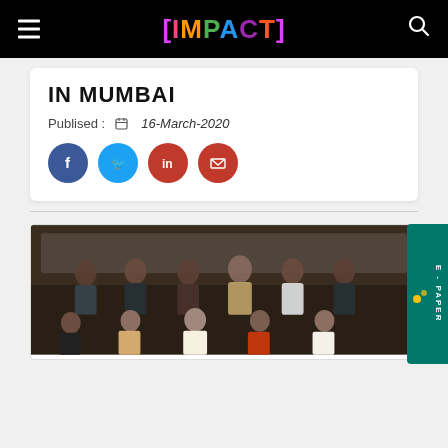[IMPACT]
IN MUMBAI
Publised : 16-March-2020
[Figure (infographic): Social media share icons: Facebook (blue circle), Twitter (blue circle), LinkedIn (red circle), Email (red circle)]
[Figure (photo): Group photo of approximately 10 people — 5 standing in the back row and 5 seated in the front row — in front of a branded event backdrop with health-related logos.]